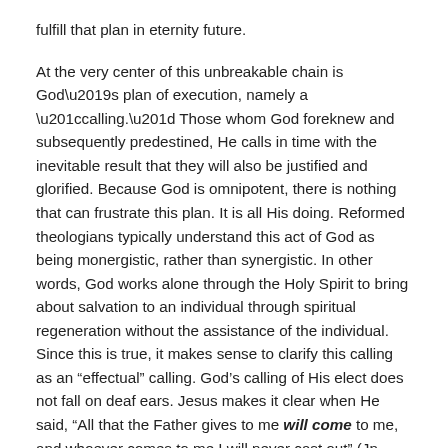fulfill that plan in eternity future.
At the very center of this unbreakable chain is God’s plan of execution, namely a “calling.” Those whom God foreknew and subsequently predestined, He calls in time with the inevitable result that they will also be justified and glorified. Because God is omnipotent, there is nothing that can frustrate this plan. It is all His doing. Reformed theologians typically understand this act of God as being monergistic, rather than synergistic. In other words, God works alone through the Holy Spirit to bring about salvation to an individual through spiritual regeneration without the assistance of the individual. Since this is true, it makes sense to clarify this calling as an “effectual” calling. God’s calling of His elect does not fall on deaf ears. Jesus makes it clear when He said, “All that the Father gives to me will come to me, and whoever comes to me I will never cast out” (Jn 6:37). Jesus was certain that the ones whom the Father had given Him before time would come to Him.